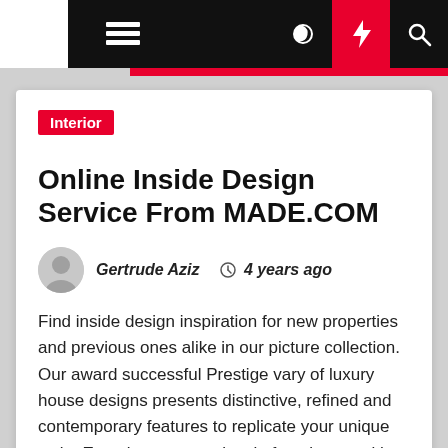Interior
Online Inside Design Service From MADE.COM
Gertrude Aziz  4 years ago
Find inside design inspiration for new properties and previous ones alike in our picture collection. Our award successful Prestige vary of luxury house designs presents distinctive, refined and contemporary features to replicate your unique style. Experience a new level of opulence, with many of the high-end design features and dream […]